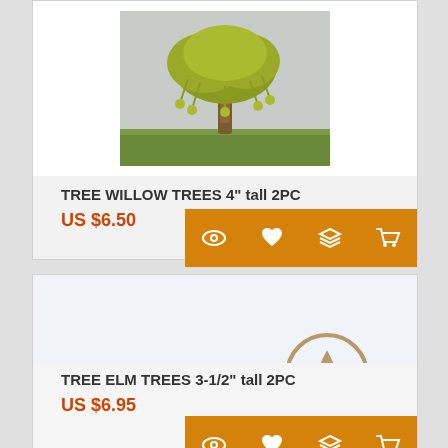[Figure (photo): Willow tree model, 4 inches tall, green foliage drooping down, sitting on green grass surface]
TREE WILLOW TREES 4" tall 2PC
US $6.50
[Figure (infographic): Four orange action buttons: eye/view icon, heart/wishlist icon, layers/collection icon, shopping cart icon]
[Figure (photo): Empty image area for Elm tree product (image not loaded), with a tan/gold upward arrow circle icon overlay]
TREE ELM TREES 3-1/2" tall 2PC
US $6.95
[Figure (infographic): Partial orange action buttons at bottom of page]